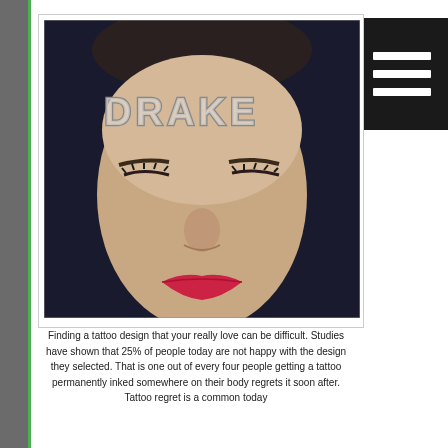[Figure (photo): A person with 'DRAKE' tattooed in large block letters on their forehead, eyes closed, wearing red lipstick, with dark hair, photographed against a dark background.]
Finding a tattoo design that your really love can be difficult. Studies have shown that 25% of people today are not happy with the design they selected. That is one out of every four people getting a tattoo permanently inked somewhere on their body regrets it soon after. Tattoo regret is a common today